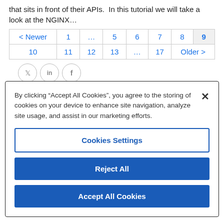that sits in front of their APIs.  In this tutorial we will take a look at the NGINX…
| < Newer | 1 | … | 5 | 6 | 7 | 8 | 9 |
| 10 | 11 | 12 | 13 | … | 17 | Older > |  |
[Figure (other): Social media share icons: Twitter (bird), LinkedIn (in), Facebook (f)]
By clicking "Accept All Cookies", you agree to the storing of cookies on your device to enhance site navigation, analyze site usage, and assist in our marketing efforts.
Cookies Settings
Reject All
Accept All Cookies